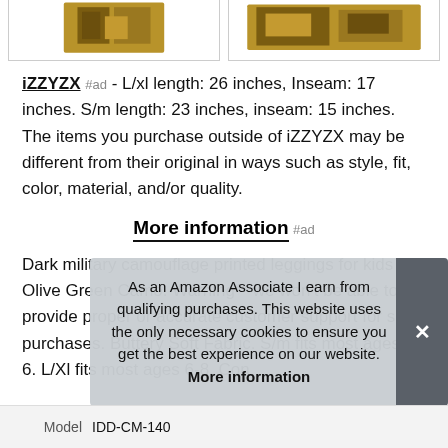[Figure (photo): Two product image thumbnails of camouflage printed leggings, partially cropped at top, shown side by side with borders.]
iZZYZX #ad - L/xl length: 26 inches, Inseam: 17 inches. S/m length: 23 inches, inseam: 15 inches. The items you purchase outside of iZZYZX may be different from their original in ways such as style, fit, color, material, and/or quality.
More information #ad
Dark military camouflage printed leggings for kids - Olive Green Camo. Warning** we won't be able to provide proper or accurate customer support for such purchases. Buttery Soft Fabric. S/m fits most ages 4-6. L/Xl fits most ages 6-8. Con
As an Amazon Associate I earn from qualifying purchases. This website uses the only necessary cookies to ensure you get the best experience on our website. More information